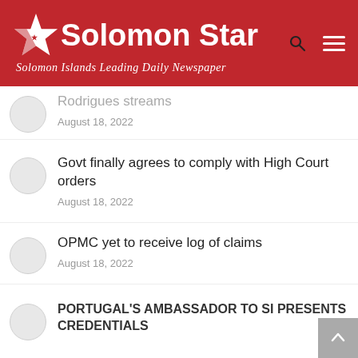Solomon Star — Solomon Islands Leading Daily Newspaper
Rodrigues streams
August 18, 2022
Govt finally agrees to comply with High Court orders
August 18, 2022
OPMC yet to receive log of claims
August 18, 2022
PORTUGAL'S AMBASSADOR TO SI PRESENTS CREDENTIALS
August 18, 2022